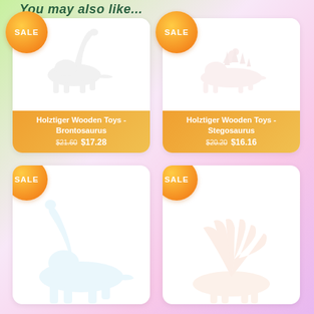You may also like...
[Figure (illustration): Holztiger wooden brontosaurus dinosaur toy, very faint/white illustration]
Holztiger Wooden Toys - Brontosaurus
$21.60 $17.28
[Figure (illustration): Holztiger wooden stegosaurus dinosaur toy, very faint/pinkish illustration]
Holztiger Wooden Toys - Stegosaurus
$20.20 $16.16
[Figure (illustration): Holztiger wooden dinosaur toy, light blue/white, partial view at bottom]
[Figure (illustration): Holztiger wooden dinosaur toy, light pink/peach, partial view at bottom]